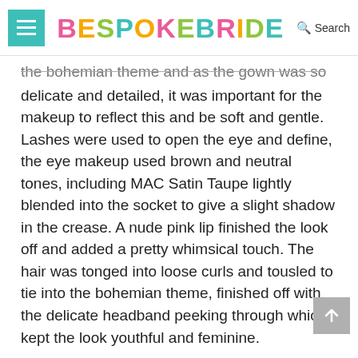BESPOKEBRIDE  Search
the bohemian theme and as the gown was so delicate and detailed, it was important for the makeup to reflect this and be soft and gentle. Lashes were used to open the eye and define, the eye makeup used brown and neutral tones, including MAC Satin Taupe lightly blended into the socket to give a slight shadow in the crease. A nude pink lip finished the look off and added a pretty whimsical touch. The hair was tonged into loose curls and tousled to tie into the bohemian theme, finished off with the delicate headband peeking through which kept the look youthful and feminine.
We wanted to make the most of the groom's